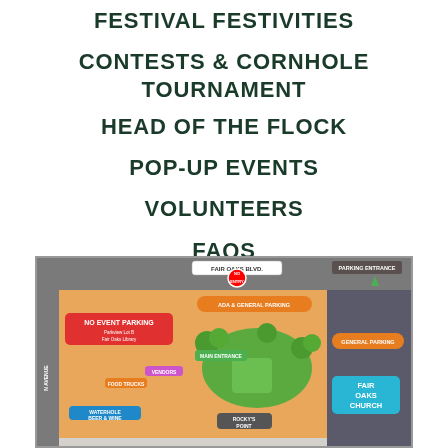FESTIVAL FESTIVITIES
CONTESTS & CORNHOLE TOURNAMENT
HEAD OF THE FLOCK
POP-UP EVENTS
VOLUNTEERS
FAQS
[Figure (map): Festival venue map showing Fair Oaks Blvd, parking areas (ADA & General Parking, General Parking, Fair Oaks Church), No Event Parking (Parkview Lot B / Fair Oaks Library), Main Entrance, Vendors, Food Trucks, Waterhole Beer & Wine, Rocky's Point, and various festival zones on an orange/green illustrated map.]